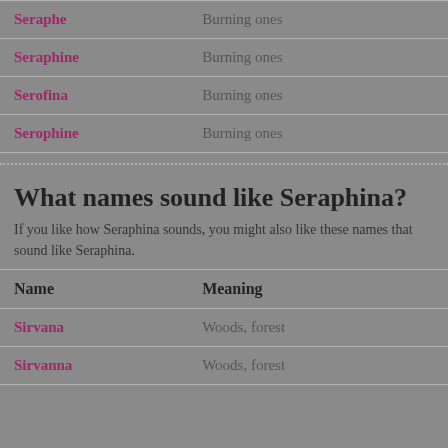| Name | Meaning |
| --- | --- |
| Seraphe | Burning ones |
| Seraphine | Burning ones |
| Serofina | Burning ones |
| Serophine | Burning ones |
What names sound like Seraphina?
If you like how Seraphina sounds, you might also like these names that sound like Seraphina.
| Name | Meaning |
| --- | --- |
| Sirvana | Woods, forest |
| Sirvanna | Woods, forest |